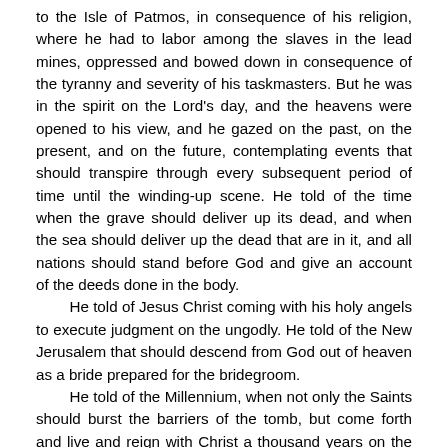to the Isle of Patmos, in consequence of his religion, where he had to labor among the slaves in the lead mines, oppressed and bowed down in consequence of the tyranny and severity of his taskmasters. But he was in the spirit on the Lord's day, and the heavens were opened to his view, and he gazed on the past, on the present, and on the future, contemplating events that should transpire through every subsequent period of time until the winding-up scene. He told of the time when the grave should deliver up its dead, and when the sea should deliver up the dead that are in it, and all nations should stand before God and give an account of the deeds done in the body.
He told of Jesus Christ coming with his holy angels to execute judgment on the ungodly. He told of the New Jerusalem that should descend from God out of heaven as a bride prepared for the bridegroom.
He told of the Millennium, when not only the Saints should burst the barriers of the tomb, but come forth and live and reign with Christ a thousand years on the earth, when righteousness and truth should prevail, and iniquity hide its hoary head, and the power of God be made manifest; and every nation, tongue, and people bow to the scepter of King Immanuel, and all